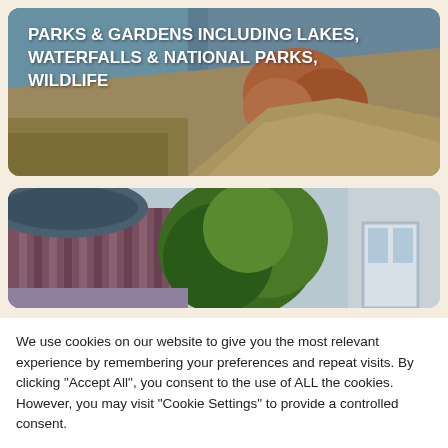[Figure (photo): Landscape photo of coastal cliffs, rocky terrain with orange rocks, sandy path, and water/sea in the background. Text overlay reads: PARKS & GARDENS INCLUDING LAKES, WATERFALLS & NATIONAL PARKS, WILDLIFE]
[Figure (photo): Photo of buildings with corrugated metal/coloured walls, lush green trees, and a white-framed glass door visible on the right]
We use cookies on our website to give you the most relevant experience by remembering your preferences and repeat visits. By clicking "Accept All", you consent to the use of ALL the cookies. However, you may visit "Cookie Settings" to provide a controlled consent.